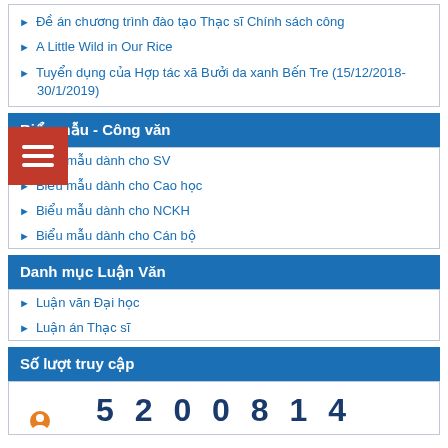Đề án chương trình đào tạo Thạc sĩ Chính sách công
A Little Wild in Our Rice
Tuyển dụng của Hợp tác xã Bưởi da xanh Bến Tre (15/12/2018-30/1/2019)
Biểu mẫu - Công văn
Biểu mẫu dành cho SV
Biểu mẫu dành cho Cao học
Biểu mẫu dành cho NCKH
Biểu mẫu dành cho Cán bộ
Danh mục Luận Văn
Luận văn Đại học
Luận án Thạc sĩ
Số lượt truy cập
5 2 0 0 8 1 4